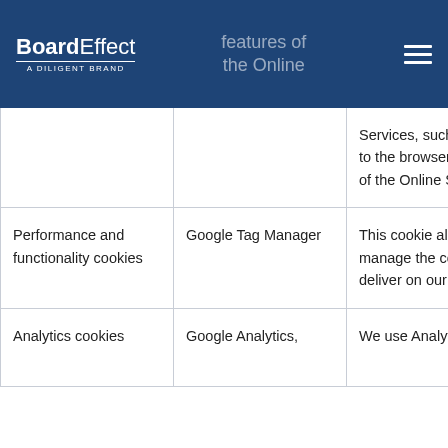BoardEffect A DILIGENT BRAND | features of the Online Services
| Cookie type | Provider | Purpose | How to control |
| --- | --- | --- | --- |
|  |  | Services, such as access to the browser interfaces of the Online Services. |  |
| Performance and functionality cookies | Google Tag Manager | This cookie allows us to manage the cookies we deliver on our website. | You can contro your browser s not be able to u Services. |
| Analytics cookies | Google Analytics, | We use Analytics | More informati out, is available |